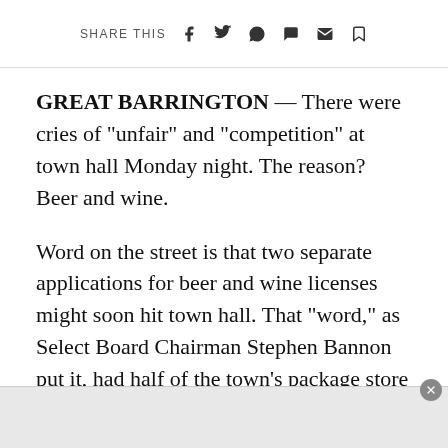SHARE THIS
GREAT BARRINGTON — There were cries of "unfair" and "competition" at town hall Monday night. The reason? Beer and wine.
Word on the street is that two separate applications for beer and wine licenses might soon hit town hall. That "word," as Select Board Chairman Stephen Bannon put it, had half of the town's package store owners at the podium Monday to tell the board that the alcohol sales market in town is saturated, and that changing